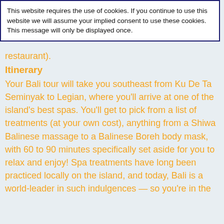This website requires the use of cookies. If you continue to use this website we will assume your implied consent to use these cookies. This message will only be displayed once.
restaurant).
Itinerary
Your Bali tour will take you southeast from Ku De Ta Seminyak to Legian, where you'll arrive at one of the island's best spas. You'll get to pick from a list of treatments (at your own cost), anything from a Shiwa Balinese massage to a Balinese Boreh body mask, with 60 to 90 minutes specifically set aside for you to relax and enjoy! Spa treatments have long been practiced locally on the island, and today, Bali is a world-leader in such indulgences — so you're in the